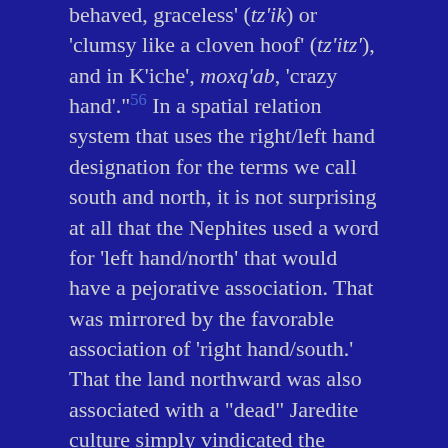behaved, graceless' (tz'ik) or 'clumsy like a cloven hoof' (tz'itz'), and in K'iche', moxq'ab, 'crazy hand'."56 In a spatial relation system that uses the right/left hand designation for the terms we call south and north, it is not surprising at all that the Nephites used a word for 'left hand/north' that would have a pejorative association. That was mirrored by the favorable association of 'right hand/south.' That the land northward was also associated with a "dead" Jaredite culture simply vindicated the pejorative association. This gives us a very simple explanation for why the land northward is Desolation and land southward is Bountiful. The labels replicate the cultural perception of the